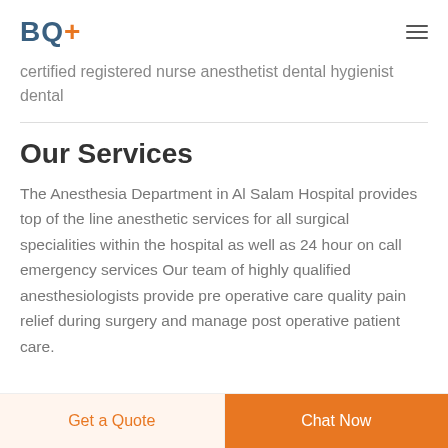BQ+
certified registered nurse anesthetist dental hygienist dental
Our Services
The Anesthesia Department in Al Salam Hospital provides top of the line anesthetic services for all surgical specialities within the hospital as well as 24 hour on call emergency services Our team of highly qualified anesthesiologists provide pre operative care quality pain relief during surgery and manage post operative patient care.